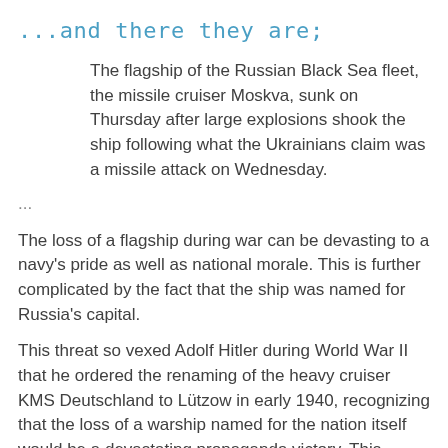...and there they are;
The flagship of the Russian Black Sea fleet, the missile cruiser Moskva, sunk on Thursday after large explosions shook the ship following what the Ukrainians claim was a missile attack on Wednesday.
...
The loss of a flagship during war can be devasting to a navy's pride as well as national morale. This is further complicated by the fact that the ship was named for Russia's capital.
This threat so vexed Adolf Hitler during World War II that he ordered the renaming of the heavy cruiser KMS Deutschland to Lützow in early 1940, recognizing that the loss of a warship named for the nation itself would be a devastating propaganda victory. This cautionary move was validated when, only three months